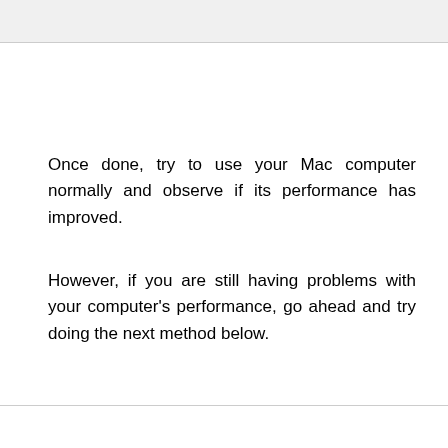Once done, try to use your Mac computer normally and observe if its performance has improved.
However, if you are still having problems with your computer's performance, go ahead and try doing the next method below.